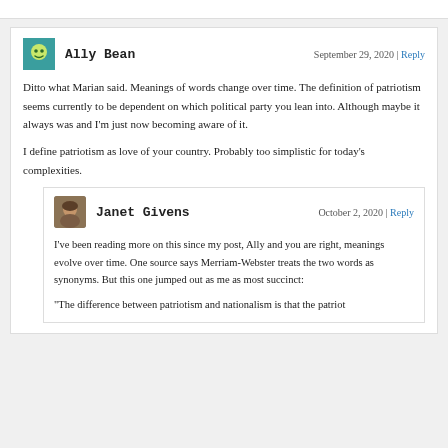Ally Bean — September 29, 2020 | Reply
Ditto what Marian said. Meanings of words change over time. The definition of patriotism seems currently to be dependent on which political party you lean into. Although maybe it always was and I'm just now becoming aware of it.

I define patriotism as love of your country. Probably too simplistic for today's complexities.
Janet Givens — October 2, 2020 | Reply
I've been reading more on this since my post, Ally and you are right, meanings evolve over time. One source says Merriam-Webster treats the two words as synonyms. But this one jumped out as me as most succinct:
"The difference between patriotism and nationalism is that the patriot